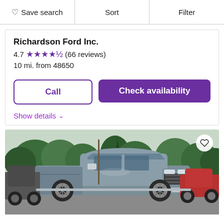Save search | Sort | Filter
Richardson Ford Inc.
4.7 ★★★★½ (66 reviews)
10 mi. from 48650
Call | Check availability
Show details ∨
[Figure (photo): Photo of a grey Chevrolet Silverado pickup truck in a dealership lot with trees in the background]